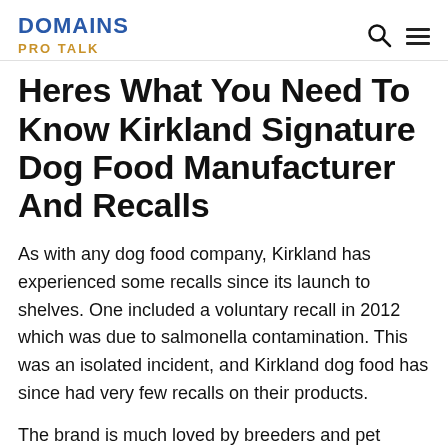DOMAINS PRO TALK
Heres What You Need To Know Kirkland Signature Dog Food Manufacturer And Recalls
As with any dog food company, Kirkland has experienced some recalls since its launch to shelves. One included a voluntary recall in 2012 which was due to salmonella contamination. This was an isolated incident, and Kirkland dog food has since had very few recalls on their products.
The brand is much loved by breeders and pet owners and has seen many switch their furry friends over to the Kirkland label as they have seen wonderful results.